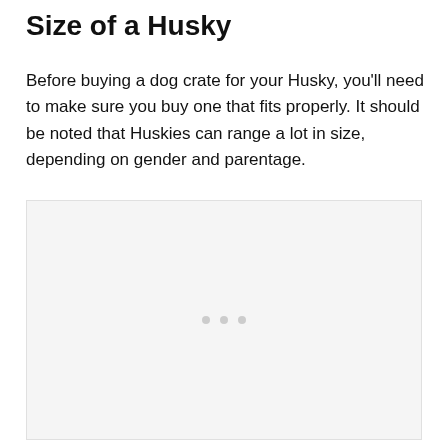Size of a Husky
Before buying a dog crate for your Husky, you'll need to make sure you buy one that fits properly. It should be noted that Huskies can range a lot in size, depending on gender and parentage.
[Figure (other): Placeholder image area with a light gray background and three small gray dots centered, indicating a loading or empty image placeholder.]